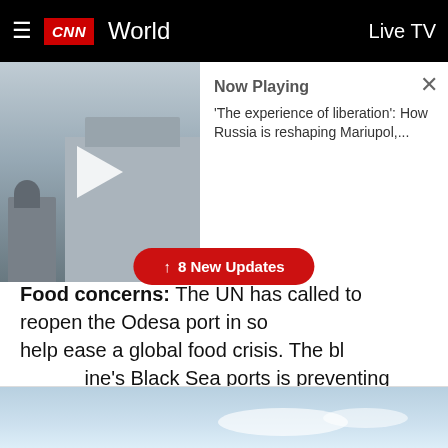CNN World | Live TV
[Figure (screenshot): CNN video player showing a still from a video about Mariupol with a play button overlay. 'Now Playing' panel shows title: 'The experience of liberation': How Russia is reshaping Mariupol,...]
[Figure (other): '8 New Updates' red pill/button overlay]
Food concerns: The UN has called to reopen the Odesa port in southern Ukraine to help ease a global food crisis. The blockade of Ukraine's Black Sea ports is preventing nearly 25 million tons of grain from being exported. CNN has also reported that Russian forces are stealing thousands of tons of grain from Ukrainian farmers, as well as targeting food storage sites with artillery, according to multiple sources.
[Figure (photo): Bottom partial image showing a blue sky with clouds]